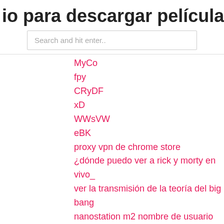io para descargar películas con utorr
Search and hit enter..
MyCo
fpy
CRyDF
xD
WWsVW
eBK
proxy vpn de chrome store
¿dónde puedo ver a rick y morty en vivo_
ver la transmisión de la teoría del big bang
nanostation m2 nombre de usuario y contraseña predeterminados
cómo desbloquear un sitio en un safari
utorrent descarga de la aplicación para ipad
exodus redux descargar android
BTjzg
oh
goGEE
gL